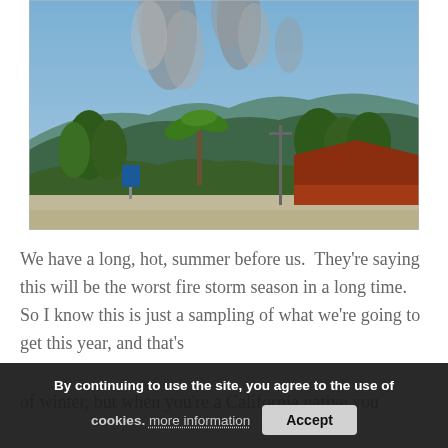[Figure (photo): Outdoor photo showing large plumes of gray smoke rising from hills in the background, with green trees, a red-roofed building, and a road in the foreground against a blue sky.]
We have a long, hot, summer before us.  They're saying this will be the worst fire storm season in a long time.  So I know this is just a sampling of what we're going to get this year, and that's pretty scary.  While everyone on the east coast was dealing with ice storms and we had a really, really mild winter.  It may be great in terms of winter, but when you're a California native you
By continuing to use the site, you agree to the use of cookies. more information